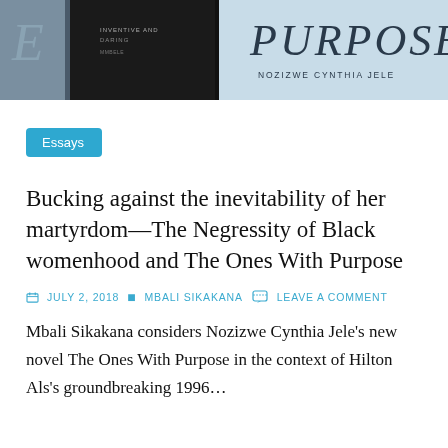[Figure (photo): Banner image showing book covers including one with 'PURPOSE' and 'NOZIZWE CYNTHIA JELE' text visible]
Essays
Bucking against the inevitability of her martyrdom—The Negressity of Black womenhood and The Ones With Purpose
JULY 2, 2018  MBALI SIKAKANA  LEAVE A COMMENT
Mbali Sikakana considers Nozizwe Cynthia Jele's new novel The Ones With Purpose in the context of Hilton Als's groundbreaking 1996…